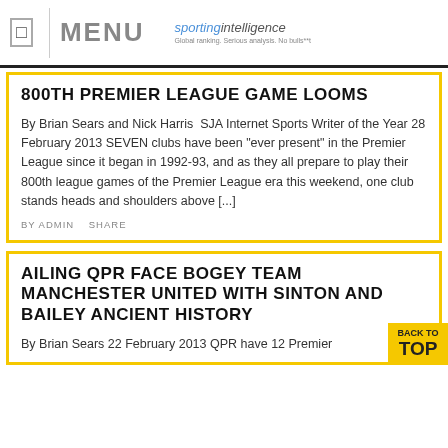MENU | sportingintelligence
800TH PREMIER LEAGUE GAME LOOMS
By Brian Sears and Nick Harris  SJA Internet Sports Writer of the Year 28 February 2013 SEVEN clubs have been "ever present" in the Premier League since it began in 1992-93, and as they all prepare to play their 800th league games of the Premier League era this weekend, one club stands heads and shoulders above [...]
BY ADMIN   SHARE
AILING QPR FACE BOGEY TEAM MANCHESTER UNITED WITH SINTON AND BAILEY ANCIENT HISTORY
By Brian Sears 22 February 2013 QPR have 12 Premier